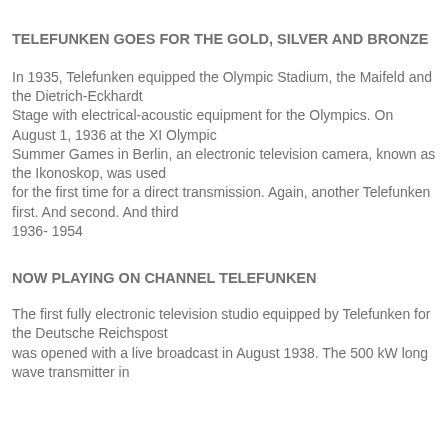TELEFUNKEN GOES FOR THE GOLD, SILVER AND BRONZE
In 1935, Telefunken equipped the Olympic Stadium, the Maifeld and the Dietrich-Eckhardt Stage with electrical-acoustic equipment for the Olympics. On August 1, 1936 at the XI Olympic Summer Games in Berlin, an electronic television camera, known as the Ikonoskop, was used for the first time for a direct transmission. Again, another Telefunken first. And second. And third 1936- 1954
NOW PLAYING ON CHANNEL TELEFUNKEN
The first fully electronic television studio equipped by Telefunken for the Deutsche Reichspost was opened with a live broadcast in August 1938. The 500 kW long wave transmitter in